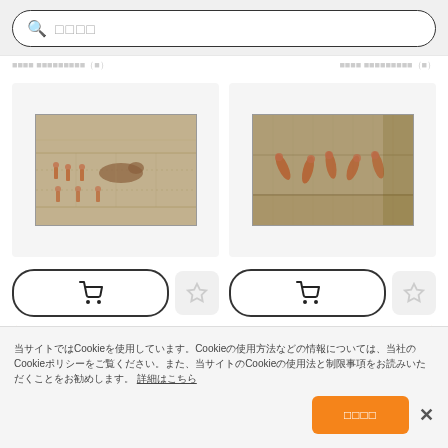[Figure (screenshot): Search bar with magnifying glass icon and placeholder text in Japanese characters]
（faint header text with Japanese characters on both columns）
[Figure (photo): Ancient Egyptian fresco showing figures and animals, left panel]
[Figure (photo): Ancient Egyptian fresco showing fighting or active figures, right panel]
[Figure (screenshot): Shopping cart button and star/favorite button for left item]
[Figure (screenshot): Shopping cart button and star/favorite button for right item]
当サイトではCookieを使用しています。Cookieの使用方法などの情報については、当社のCookieポリシーをご覧ください。また、当サイトのCookieの使用法と制限事項をお読みいただくことをお勧めします。 詳細はこちら
[Figure (screenshot): Orange accept button with Japanese text and close X button]